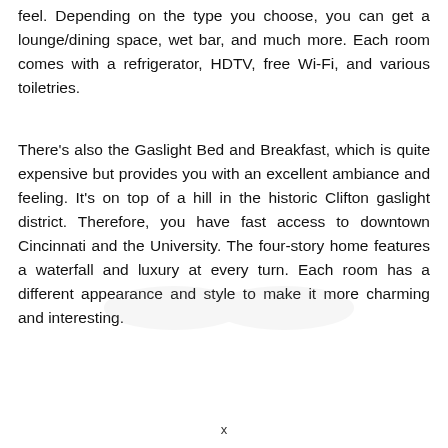feel. Depending on the type you choose, you can get a lounge/dining space, wet bar, and much more. Each room comes with a refrigerator, HDTV, free Wi-Fi, and various toiletries.
There's also the Gaslight Bed and Breakfast, which is quite expensive but provides you with an excellent ambiance and feeling. It's on top of a hill in the historic Clifton gaslight district. Therefore, you have fast access to downtown Cincinnati and the University. The four-story home features a waterfall and luxury at every turn. Each room has a different appearance and style to make it more charming and interesting.
x